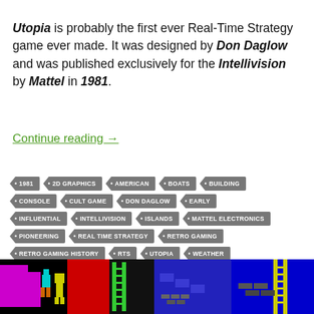Utopia is probably the first ever Real-Time Strategy game ever made. It was designed by Don Daglow and was published exclusively for the Intellivision by Mattel in 1981.
Continue reading →
1981
2D GRAPHICS
AMERICAN
BOATS
BUILDING
CONSOLE
CULT GAME
DON DAGLOW
EARLY
INFLUENTIAL
INTELLIVISION
ISLANDS
MATTEL ELECTRONICS
PIONEERING
REAL TIME STRATEGY
RETRO GAMING
RETRO GAMING HISTORY
RTS
UTOPIA
WEATHER
[Figure (screenshot): Colorful retro 8-bit game screenshot showing pixelated game scene with characters and structures on black/blue background]